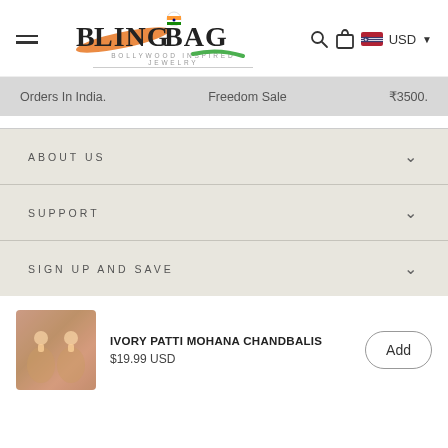BlingBag - Bollywood Inspired Jewelry
Orders In India.   Freedom Sale   ₹3500.
ABOUT US
SUPPORT
SIGN UP AND SAVE
IVORY PATTI MOHANA CHANDBALIS
$19.99 USD